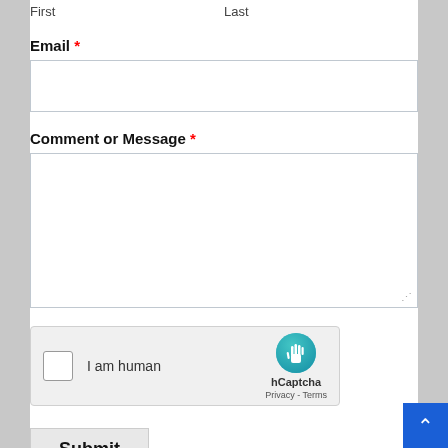First    Last
Email *
[Figure (other): Empty email input text field]
Comment or Message *
[Figure (other): Large empty textarea for comment or message]
[Figure (other): hCaptcha widget with checkbox labeled 'I am human' and hCaptcha branding with Privacy and Terms links]
[Figure (other): Submit button and scroll-to-top blue button with up arrow]